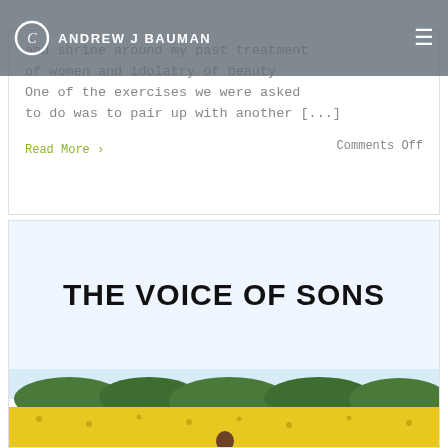ANDREW J BAUMAN
and shrine around my past treatment of women and idolatry of beauty One of the exercises we were asked to do was to pair up with another [...]
Read More >    Comments Off
THE VOICE OF SONS
[Figure (photo): A person viewed from behind standing in a field of yellow flowers with trees and hills in the background]